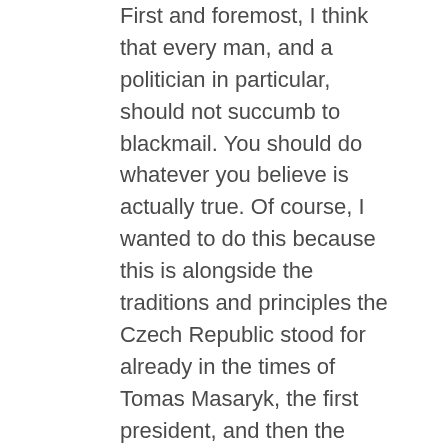First and foremost, I think that every man, and a politician in particular, should not succumb to blackmail. You should do whatever you believe is actually true. Of course, I wanted to do this because this is alongside the traditions and principles the Czech Republic stood for already in the times of Tomas Masaryk, the first president, and then the principles that were reinforced by Vaclav Havel and Jiri Dienstbier. And that goes along the lines that our country will always support other countries that are free, democratic, and respect human rights.
Of course, I commented on that when I said that we will either “count the pennies or stand up for the values.” And I always advocate for standing up for values instead of counting pennies.
They were also...